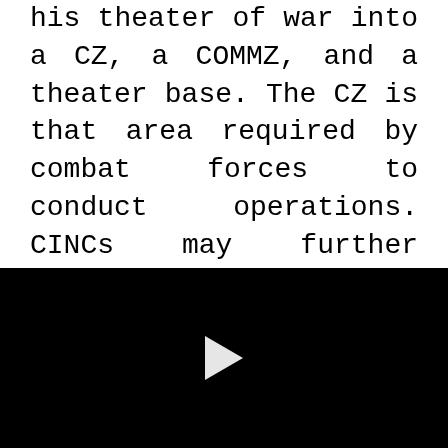his theater of war into a CZ, a COMMZ, and a theater base. The CZ is that area required by combat forces to conduct operations. CINCs may further subdivide the CZ into forward and rear combat zones. They are normally forward of the Army rear boundary.
[Figure (other): Black video player area with a white play button triangle in the center]